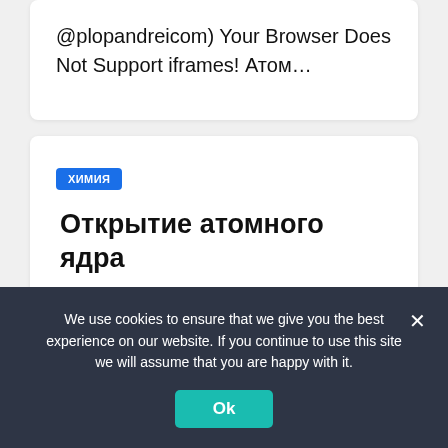@plopandreicom) Your Browser Does Not Support iframes! Атом…
ХИМИЯ
Открытие атомного ядра
How to Stop Missing Deadlines? Please Follow our Telegram channel https://t.me/PlopAndreiCom (
We use cookies to ensure that we give you the best experience on our website. If you continue to use this site we will assume that you are happy with it.
Ok